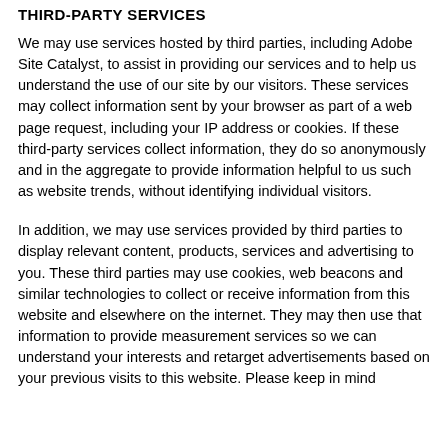THIRD-PARTY SERVICES
We may use services hosted by third parties, including Adobe Site Catalyst, to assist in providing our services and to help us understand the use of our site by our visitors. These services may collect information sent by your browser as part of a web page request, including your IP address or cookies. If these third-party services collect information, they do so anonymously and in the aggregate to provide information helpful to us such as website trends, without identifying individual visitors.
In addition, we may use services provided by third parties to display relevant content, products, services and advertising to you. These third parties may use cookies, web beacons and similar technologies to collect or receive information from this website and elsewhere on the internet. They may then use that information to provide measurement services so we can understand your interests and retarget advertisements based on your previous visits to this website. Please keep in mind